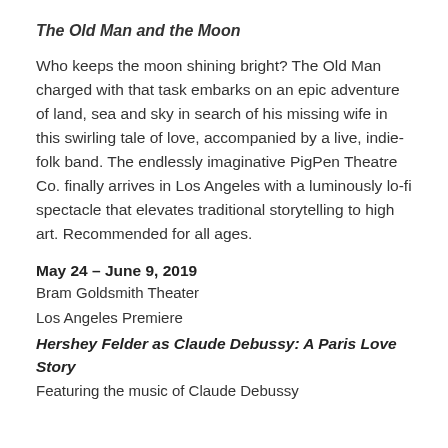The Old Man and the Moon
Who keeps the moon shining bright? The Old Man charged with that task embarks on an epic adventure of land, sea and sky in search of his missing wife in this swirling tale of love, accompanied by a live, indie-folk band. The endlessly imaginative PigPen Theatre Co. finally arrives in Los Angeles with a luminously lo-fi spectacle that elevates traditional storytelling to high art. Recommended for all ages.
May 24 – June 9, 2019
Bram Goldsmith Theater
Los Angeles Premiere
Hershey Felder as Claude Debussy: A Paris Love Story
Featuring the music of Claude Debussy